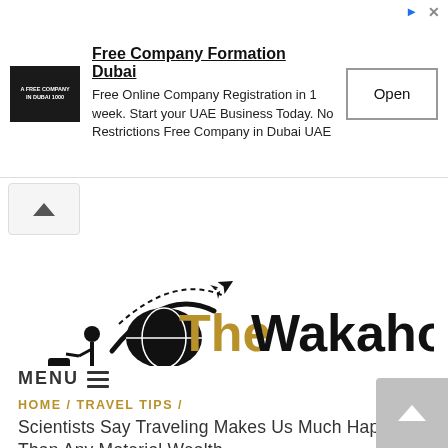[Figure (screenshot): Advertisement banner for Free Company Formation Dubai service showing logo, text, and Open button]
[Figure (logo): The Wakaholic travel blog logo with traveler silhouette, globe, and airplane icon. Text reads 'The Wakaholic' with 'The' in gold and 'Wakaholic' in black.]
MENU ≡
HOME / TRAVEL TIPS / Scientists Say Traveling Makes Us Much Happier Than Any Material Wealth